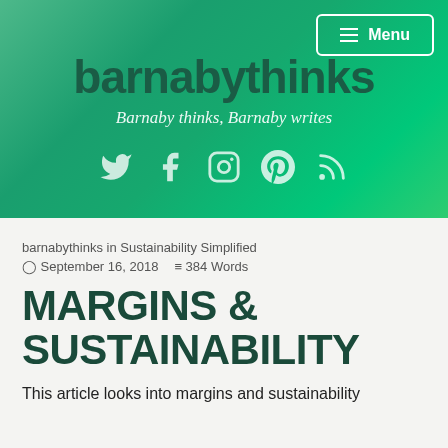barnabythinks — Barnaby thinks, Barnaby writes
barnabythinks in Sustainability Simplified
September 16, 2018  384 Words
MARGINS & SUSTAINABILITY
This article looks into margins and sustainability